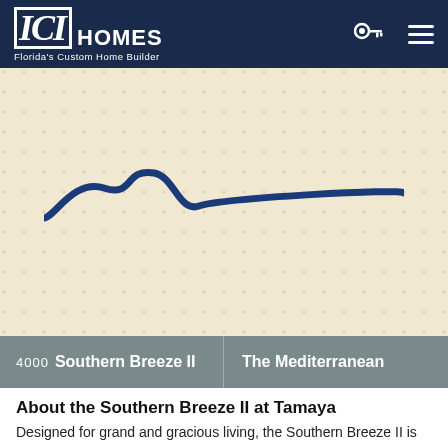ICI HOMES Florida's Custom Home Builder
[Figure (logo): ICI Homes logo with wave graphic on beige textured background]
4000 Southern Breeze II | The Mediterranean
About the Southern Breeze II at Tamaya
Designed for grand and gracious living, the Southern Breeze II is sure